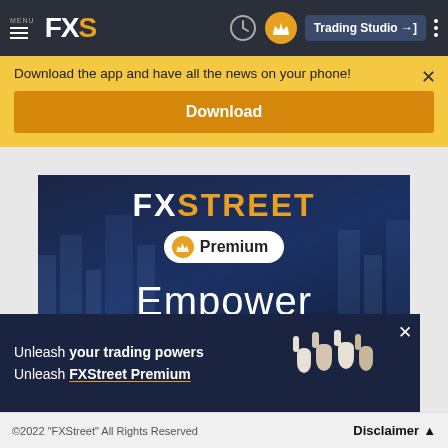MENU FXS | Trading Studio
Download the app and have all the news on your phone!
Download
[Figure (advertisement): FXStreet Premium advertisement with dark blue background showing FXSTREET logo in white/orange, Premium badge with crown icon, and text 'Empower']
[Figure (advertisement): Dark navy bottom banner: 'Unleash your trading powers Unleash FXStreet Premium' with raised fist silhouettes on right side]
©2022 "FXStreet" All Rights Reserved    Disclaimer ▲